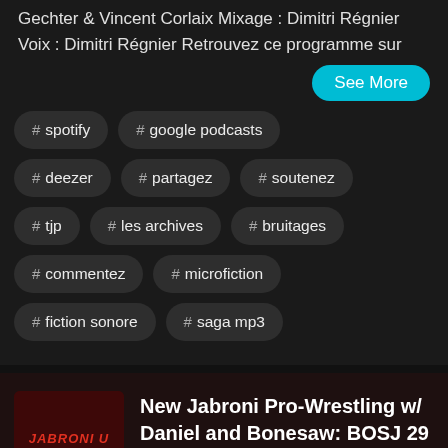Gechter & Vincent Corlaix Mixage : Dimitri Régnier Voix : Dimitri Régnier Retrouvez ce programme sur
See More
# spotify
# google podcasts
# deezer
# partagez
# soutenez
# tjp
# les archives
# bruitages
# commentez
# microfiction
# fiction sonore
# saga mp3
[Figure (logo): Jabroni U Podcast logo on dark red background]
New Jabroni Pro-Wrestling w/ Daniel and Bonesaw: BOSJ 29 Week 2